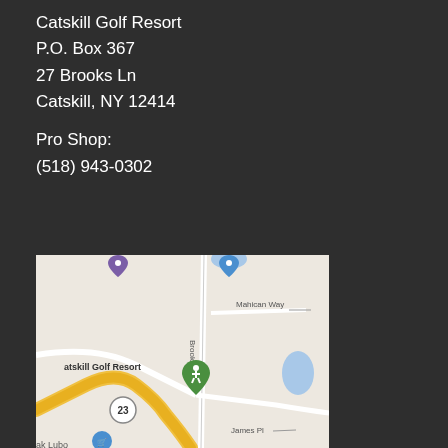Catskill Golf Resort
P.O. Box 367
27 Brooks Ln
Catskill, NY 12414

Pro Shop:
(518) 943-0302
[Figure (map): Google Maps screenshot showing the location of Catskill Golf Resort at 27 Brooks Ln, Catskill, NY. The map shows Brooks Ln, Mahican Way, James Pl, a yellow highway (Route 23), and a green map pin for Catskill Golf Resort. A blue water body is visible to the right.]